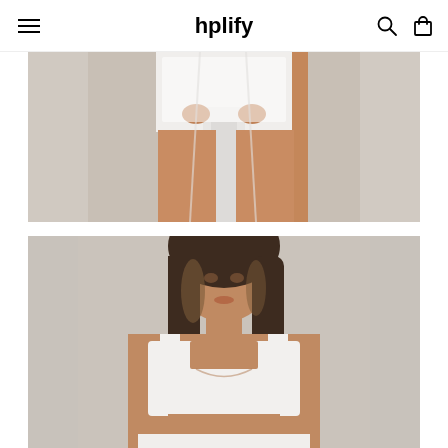hplify
[Figure (photo): Fashion model wearing white outfit, cropped photo showing lower body with white mini skirt/shorts and white draped fabric, against sheer white curtain background]
[Figure (photo): Fashion model with long brown hair wearing a white crop top bralette with square neckline, showing midriff, against a soft grey/white background]